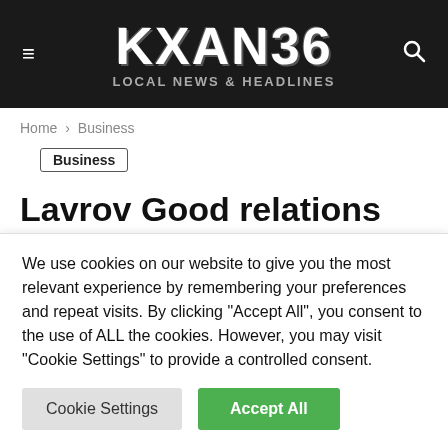KXAN36 LOCAL NEWS & HEADLINES
Home › Business
Business
Lavrov Good relations between Russia and Montenegro will be restored
By Jennifer Alvarez - 27/04/2020   460   0
We use cookies on our website to give you the most relevant experience by remembering your preferences and repeat visits. By clicking "Accept All", you consent to the use of ALL the cookies. However, you may visit "Cookie Settings" to provide a controlled consent.